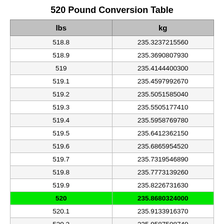520 Pound Conversion Table
| lbs | kg |
| --- | --- |
| 518.8 | 235.3237215560 |
| 518.9 | 235.3690807930 |
| 519 | 235.4144400300 |
| 519.1 | 235.4597992670 |
| 519.2 | 235.5051585040 |
| 519.3 | 235.5505177410 |
| 519.4 | 235.5958769780 |
| 519.5 | 235.6412362150 |
| 519.6 | 235.6865954520 |
| 519.7 | 235.7319546890 |
| 519.8 | 235.7773139260 |
| 519.9 | 235.8226731630 |
| 520 | 235.8680324000 |
| 520.1 | 235.9133916370 |
| 520.2 | 235.9587508740 |